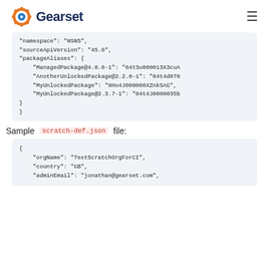Gearset
[Figure (screenshot): Code block showing JSON snippet with namespace, sourceApiVersion, and packageAliases fields]
Sample scratch-def.json file:
[Figure (screenshot): Code block showing scratch-def.json with orgName, country, adminEmail fields]